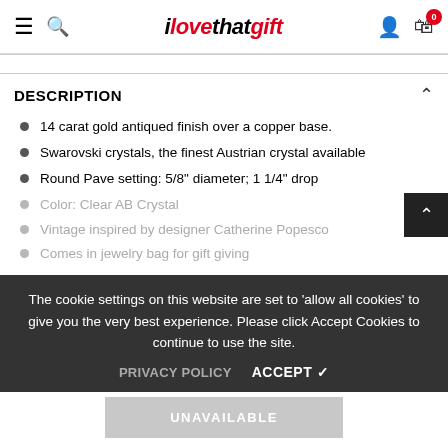ilovethatgift — navigation header with hamburger, search, logo, user icon, cart (0)
DESCRIPTION
14 carat gold antiqued finish over a copper base.
Swarovski crystals, the finest Austrian crystal available
Round Pave setting: 5/8" diameter; 1 1/4" drop
Color: Clear AB Crystal
Vintage inspired by designer Catherine Popesco
Comes in jewelry bag for gift giving
The cookie settings on this website are set to 'allow all cookies' to give you the very best experience. Please click Accept Cookies to continue to use the site. PRIVACY POLICY   ACCEPT ✓
UNAVAILABLE